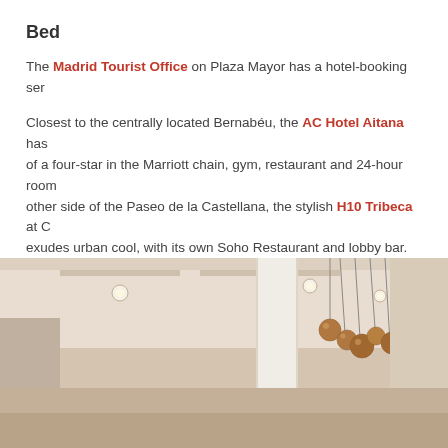Bed
The Madrid Tourist Office on Plaza Mayor has a hotel-booking ser...
Closest to the centrally located Bernabéu, the AC Hotel Aitana has... of a four-star in the Marriott chain, gym, restaurant and 24-hour room... other side of the Paseo de la Castellana, the stylish H10 Tribeca at C... exudes urban cool, with its own Soho Restaurant and lobby bar.
With Atlético now out by the airport, staying there makes little sense u... booking a room by Barajas itself, in which case there are plenty of cha...
[Figure (photo): Interior of a hotel lobby or restaurant with recessed ceiling lights, white structural column, and modern copper/gold pendant light cluster hanging from the ceiling. Warm beige/cream color palette.]